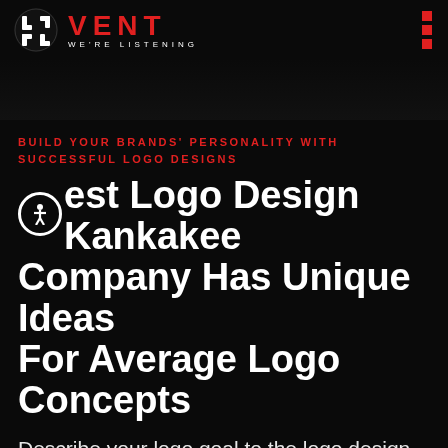LOGO VENT WE'RE LISTENING
BUILD YOUR BRANDS' PERSONALITY WITH SUCCESSFUL LOGO DESIGNS
Best Logo Design Kankakee Company Has Unique Ideas For Average Logo Concepts
Describe your logo goal to the logo design company of Kankakee. Our graphic design services design logos that are what you want for your business's next digital strategy. Logo designers in Kankakee are well known for